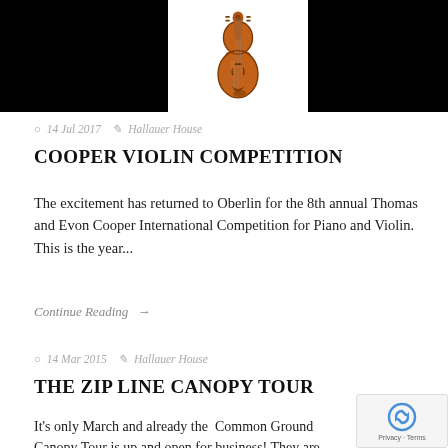[Figure (photo): Header banner with two black image blocks on left and right, and a violin image in the center on white background.]
14 Jul 2017   Hallauer House
COOPER VIOLIN COMPETITION
The excitement has returned to Oberlin for the 8th annual Thomas and Evon Cooper International Competition for Piano and Violin. This is the year...
Continue Reading →
14 Mar 2015   Hallauer House
THE ZIP LINE CANOPY TOUR
It's only March and already the  Common Ground Canopy Tour is up and open for business! They are open